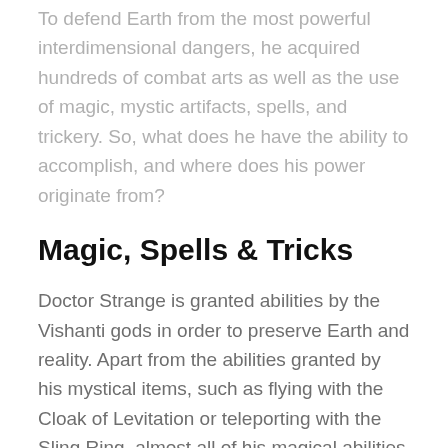To defend Earth from the most powerful interdimensional dangers, he acquired hundreds of combat arts as well as the use of magic, mystic artifacts, spells, and trickery. So, what does he have the ability to accomplish, and where does his power originate from?
Magic, Spells & Tricks
Doctor Strange is granted abilities by the Vishanti gods in order to preserve Earth and reality. Apart from the abilities granted by his mystical items, such as flying with the Cloak of Levitation or teleporting with the Sling Ring, almost all of his magical abilities come from there.
In terms of his abilities, there is no limit to his spells. He has the ability to generate magical discs as weapons, defensive